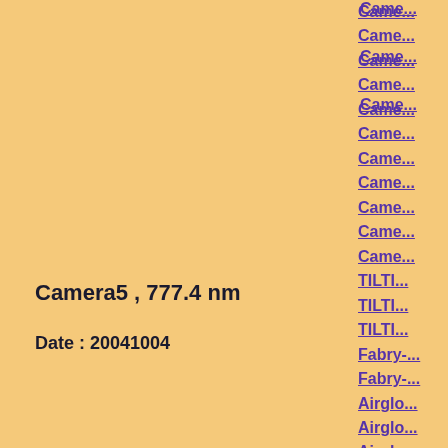Camera5 , 777.4 nm
Date : 20041004
Click figure to enlarge
Came...
Came...
Came...
Came...
Came...
Came...
Came...
Came...
Came...
Came...
Came...
TILTI...
TILTI...
TILTI...
Fabry-...
Fabry-...
Airglo...
Airglo...
Airglo...
Airglo...
Airglo...
Airglo...